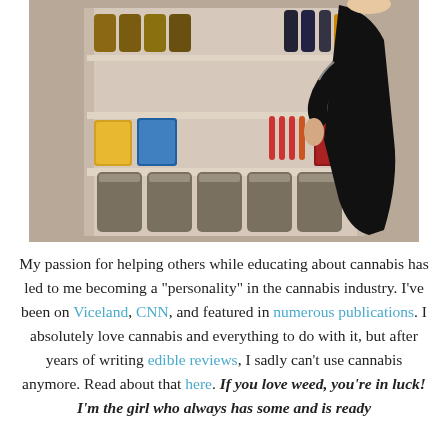[Figure (photo): A woman in a black dress standing in front of an open cabinet/safe stocked with cannabis products including jars of cannabis flower on the bottom shelf, various packaged products, and vials/bottles on upper shelves.]
My passion for helping others while educating about cannabis has led to me becoming a "personality" in the cannabis industry. I've been on Viceland, CNN, and featured in numerous publications. I absolutely love cannabis and everything to do with it, but after years of writing edible reviews, I sadly can't use cannabis anymore. Read about that here. If you love weed, you're in luck! I'm the girl who always has some and is ready